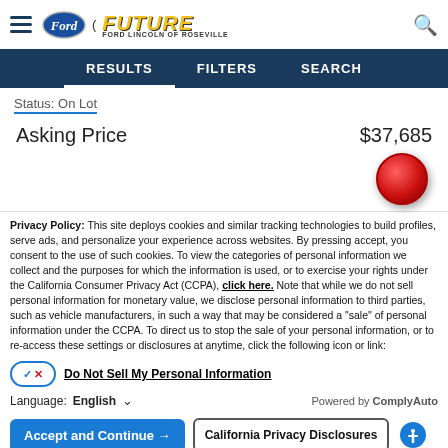Future Ford Lincoln of Roseville — site header with hamburger menu, Ford oval logo, Future dealership logo, and search icon
RESULTS   FILTERS   SEARCH
Status: On Lot
Asking Price   $37,685
Privacy Policy: This site deploys cookies and similar tracking technologies to build profiles, serve ads, and personalize your experience across websites. By pressing accept, you consent to the use of such cookies. To view the categories of personal information we collect and the purposes for which the information is used, or to exercise your rights under the California Consumer Privacy Act (CCPA), click here. Note that while we do not sell personal information for monetary value, we disclose personal information to third parties, such as vehicle manufacturers, in such a way that may be considered a "sale" of personal information under the CCPA. To direct us to stop the sale of your personal information, or to re-access these settings or disclosures at anytime, click the following icon or link:
Do Not Sell My Personal Information
Language: English   Powered by ComplyAuto
Accept and Continue →   California Privacy Disclosures